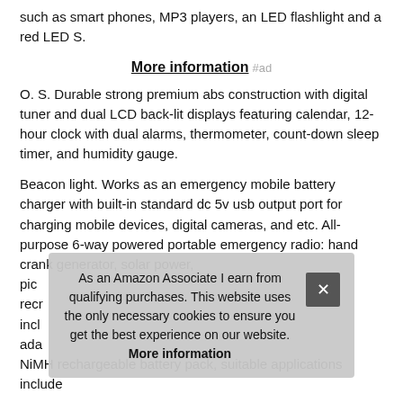such as smart phones, MP3 players, an LED flashlight and a red LED S.
More information #ad
O. S. Durable strong premium abs construction with digital tuner and dual LCD back-lit displays featuring calendar, 12-hour clock with dual alarms, thermometer, count-down sleep timer, and humidity gauge.
Beacon light. Works as an emergency mobile battery charger with built-in standard dc 5v usb output port for charging mobile devices, digital cameras, and etc. All-purpose 6-way powered portable emergency radio: hand crank generator, solar power, pic... recr... incl... ada... NiMH rechargeable battery pack, suitable applications include
As an Amazon Associate I earn from qualifying purchases. This website uses the only necessary cookies to ensure you get the best experience on our website. More information